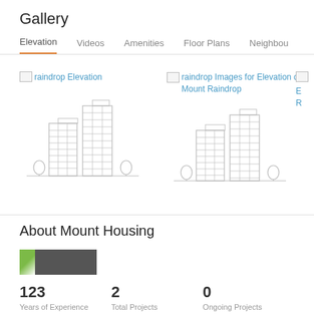Gallery
Elevation  Videos  Amenities  Floor Plans  Neighbou
[Figure (illustration): Building elevation illustration with two towers and trees - first gallery item labeled 'raindrop Elevation']
[Figure (illustration): Building elevation illustration with two towers and trees - second gallery item labeled 'raindrop Images for Elevation of Mount Raindrop']
About Mount Housing
[Figure (logo): Mount Housing company logo - small green leaf icon with dark background]
123
Years of Experience
2
Total Projects
0
Ongoing Projects